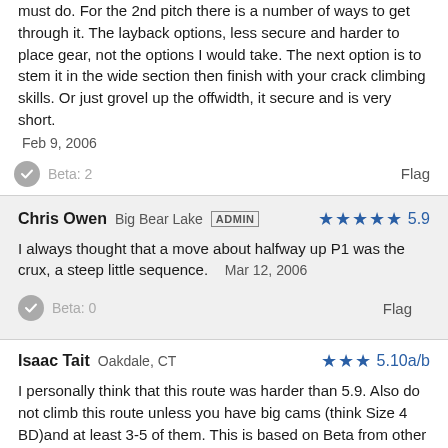must do. For the 2nd pitch there is a number of ways to get through it. The layback options, less secure and harder to place gear, not the options I would take. The next option is to stem it in the wide section then finish with your crack climbing skills. Or just grovel up the offwidth, it secure and is very short.
Feb 9, 2006
Beta: 2
Flag
Chris Owen  Big Bear Lake  ADMIN  ★★★★  5.9
I always thought that a move about halfway up P1 was the crux, a steep little sequence.   Mar 12, 2006
Beta: 0
Flag
Isaac Tait  Oakdale, CT  ★★★  5.10a/b
I personally think that this route was harder than 5.9. Also do not climb this route unless you have big cams (think Size 4 BD)and at least 3-5 of them. This is based on Beta from other climbers since I did not get past the first pitch because of other climbers warning us to bail since we had 1 #3 BD cam. The rap off the first pitch was sketchy as well. The rap rings were hanging off a chock... more  Nov 22, 2006